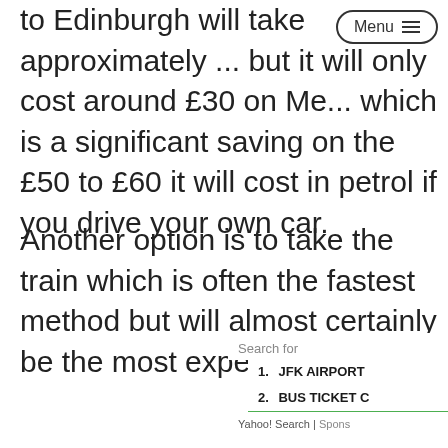Menu ≡
to Edinburgh will take approximately ... but it will only cost around £30 on Me... which is a significant saving on the £50 to £60 it will cost in petrol if you drive your own car.
Another option is to take the train which is often the fastest method but will almost certainly be the most expensive as well.
Search for
1. JFK AIRPORT
2. BUS TICKET C
Yahoo! Search | Spons